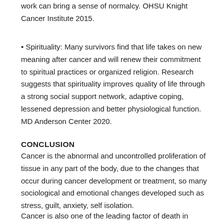work can bring a sense of normalcy. OHSU Knight Cancer Institute 2015.
• Spirituality: Many survivors find that life takes on new meaning after cancer and will renew their commitment to spiritual practices or organized religion. Research suggests that spirituality improves quality of life through a strong social support network, adaptive coping, lessened depression and better physiological function. MD Anderson Center 2020.
CONCLUSION
Cancer is the abnormal and uncontrolled proliferation of tissue in any part of the body, due to the changes that occur during cancer development or treatment, so many sociological and emotional changes developed such as stress, guilt, anxiety, self isolation.
Cancer is also one of the leading factor of death in developed